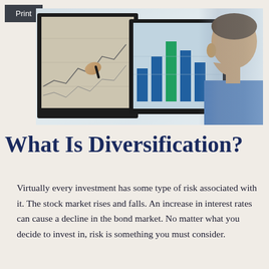Print
[Figure (photo): A man in a blue shirt pointing at a financial chart on a monitor screen, with a second monitor visible showing bar charts and graphs.]
What Is Diversification?
Virtually every investment has some type of risk associated with it. The stock market rises and falls. An increase in interest rates can cause a decline in the bond market. No matter what you decide to invest in, risk is something you must consider.